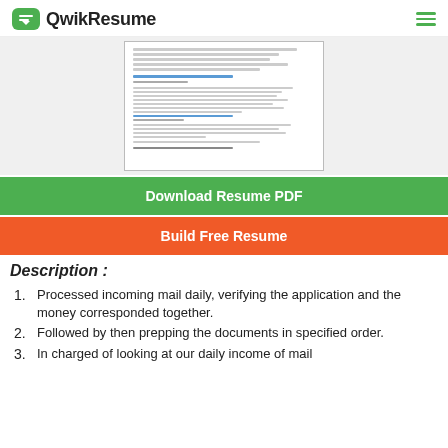QwikResume
[Figure (screenshot): Preview of a resume document showing bullet points and blue section headers]
Download Resume PDF
Build Free Resume
Description :
Processed incoming mail daily, verifying the application and the money corresponded together.
Followed by then prepping the documents in specified order.
In charged of looking at our daily income of mail